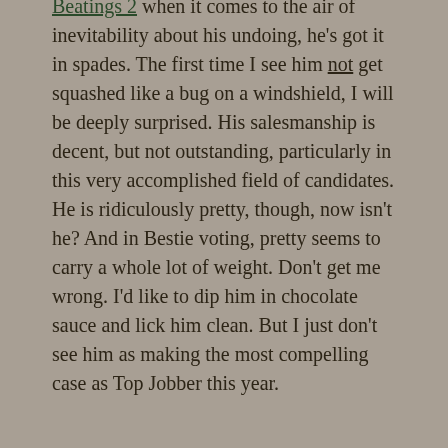Beatings 2 when it comes to the air of inevitability about his undoing, he's got it in spades. The first time I see him not get squashed like a bug on a windshield, I will be deeply surprised. His salesmanship is decent, but not outstanding, particularly in this very accomplished field of candidates. He is ridiculously pretty, though, now isn't he? And in Bestie voting, pretty seems to carry a whole lot of weight. Don't get me wrong. I'd like to dip him in chocolate sauce and lick him clean. But I just don't see him as making the most compelling case as Top Jobber this year.
Debut of the Year
Now things get really, really interesting. Yesterday I